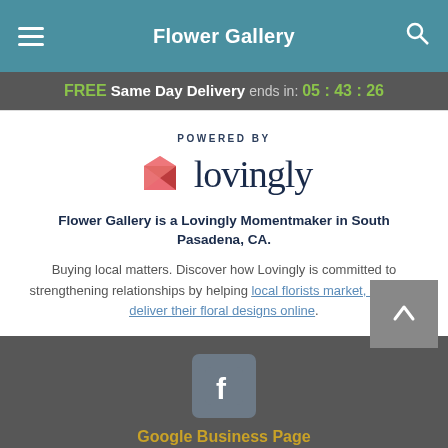Flower Gallery
FREE Same Day Delivery ends in: 05 : 43 : 26
[Figure (logo): Powered by Lovingly logo with pink heart/envelope icon and dark blue 'lovingly' wordmark]
Flower Gallery is a Lovingly Momentmaker in South Pasadena, CA.
Buying local matters. Discover how Lovingly is committed to strengthening relationships by helping local florists market, sell, and deliver their floral designs online.
[Figure (logo): Facebook logo icon in rounded square]
Google Business Page